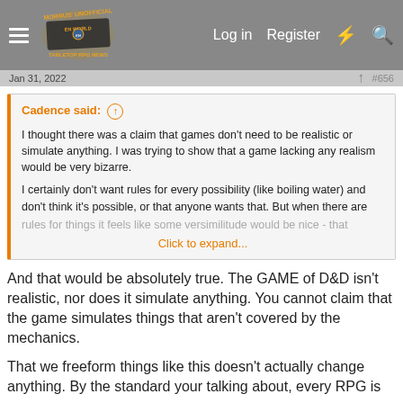Morrus' Unofficial Tabletop RPG News — Log in | Register
Jan 31, 2022  #656
Cadence said: ↑

I thought there was a claim that games don't need to be realistic or simulate anything. I was trying to show that a game lacking any realism would be very bizarre.

I certainly don't want rules for every possibility (like boiling water) and don't think it's possible, or that anyone wants that. But when there are rules for things it feels like some versimilitude would be nice - that
Click to expand...
And that would be absolutely true. The GAME of D&D isn't realistic, nor does it simulate anything. You cannot claim that the game simulates things that aren't covered by the mechanics.
That we freeform things like this doesn't actually change anything. By the standard your talking about, every RPG is